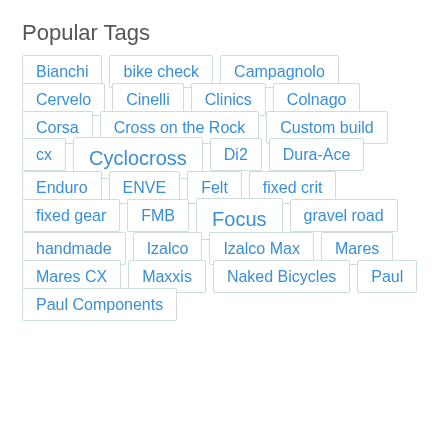Popular Tags
Bianchi
bike check
Campagnolo
Cervelo
Cinelli
Clinics
Colnago
Corsa
Cross on the Rock
Custom build
cx
Cyclocross
Di2
Dura-Ace
Enduro
ENVE
Felt
fixed crit
fixed gear
FMB
Focus
gravel road
handmade
Izalco
Izalco Max
Mares
Mares CX
Maxxis
Naked Bicycles
Paul
Paul Components